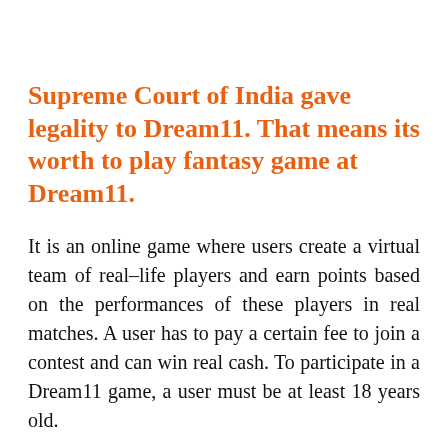Supreme Court of India gave legality to Dream11. That means its worth to play fantasy game at Dream11.
It is an online game where users create a virtual team of real–life players and earn points based on the performances of these players in real matches. A user has to pay a certain fee to join a contest and can win real cash. To participate in a Dream11 game, a user must be at least 18 years old.
Top five things which make Dream11 better than any other fantasy platform!